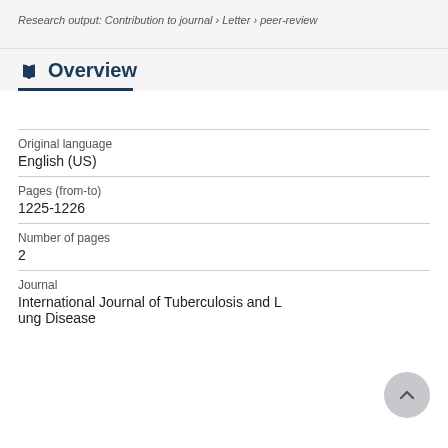Research output: Contribution to journal › Letter › peer-review
Overview
Original language
English (US)
Pages (from-to)
1225-1226
Number of pages
2
Journal
International Journal of Tuberculosis and Lung Disease